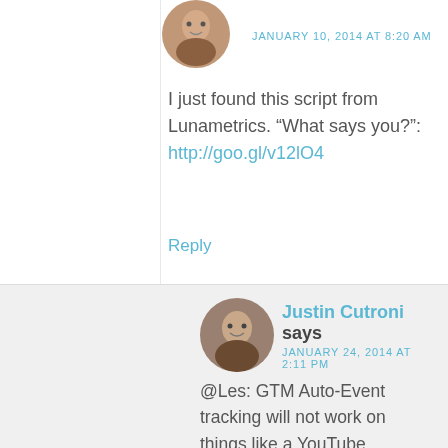JANUARY 10, 2014 AT 8:20 AM
I just found this script from Lunametrics. “What says you?”: http://goo.gl/v12lO4
Reply
Justin Cutroni says JANUARY 24, 2014 AT 2:11 PM
@Les: GTM Auto-Event tracking will not work on things like a YouTube embedded player. I have seen the script from LunaMetrics but have not tried it. They usually make pretty reliable stuff :)